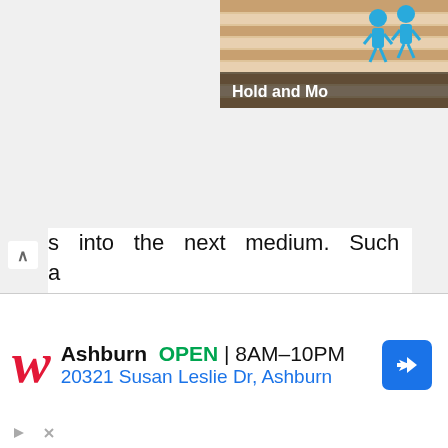[Figure (screenshot): Top right banner showing 'Hold and Move' interactive element with cartoon figures on a striped background]
s into the next medium. Such a transmission may be associated with a refraction, which means that the wave can bend, or change directions, as it enters the new medium. We will go into more details about these characteristics in future lessons.
Another interesting property of waves, called diffraction, appears when a wave
[Figure (screenshot): Walgreens advertisement: Ashburn OPEN 8AM-10PM, 20321 Susan Leslie Dr, Ashburn]